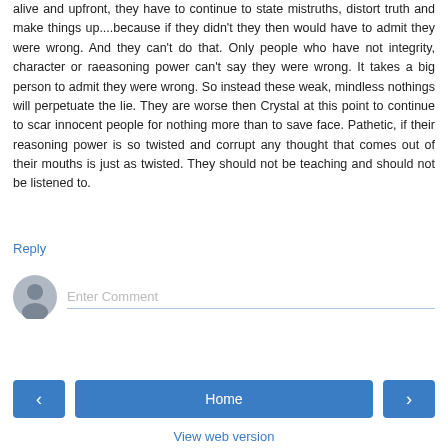alive and upfront, they have to continue to state mistruths, distort truth and make things up....because if they didn't they then would have to admit they were wrong. And they can't do that. Only people who have not integrity, character or raeasoning power can't say they were wrong. It takes a big person to admit they were wrong. So instead these weak, mindless nothings will perpetuate the lie. They are worse then Crystal at this point to continue to scar innocent people for nothing more than to save face. Pathetic, if their reasoning power is so twisted and corrupt any thought that comes out of their mouths is just as twisted. They should not be teaching and should not be listened to.
Reply
[Figure (illustration): User avatar icon - grey circular silhouette of a person]
Enter Comment
< Home >
View web version